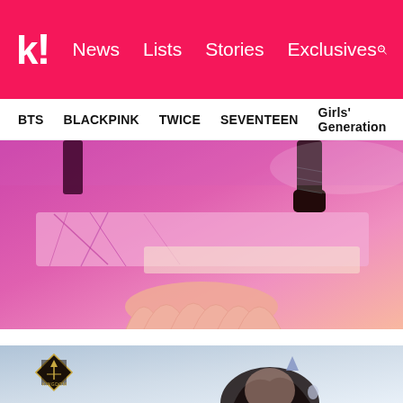k! News Lists Stories Exclusives
BTS BLACKPINK TWICE SEVENTEEN Girls' Generation
[Figure (photo): Pink-lit stage scene with a person's legs in black boots standing on a cracked pink platform, with decorative floral relief sculpture below]
[Figure (photo): Kingdom: Legendary War logo diamond badge on left; male K-pop performer with dark hair and cat ear accessory, blurred blue-grey background]